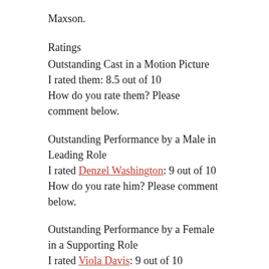Maxson.
Ratings
Outstanding Cast in a Motion Picture
I rated them: 8.5 out of 10
How do you rate them? Please comment below.
Outstanding Performance by a Male in Leading Role
I rated Denzel Washington: 9 out of 10
How do you rate him? Please comment below.
Outstanding Performance by a Female in a Supporting Role
I rated Viola Davis: 9 out of 10
How do you rate her? Please comment below.